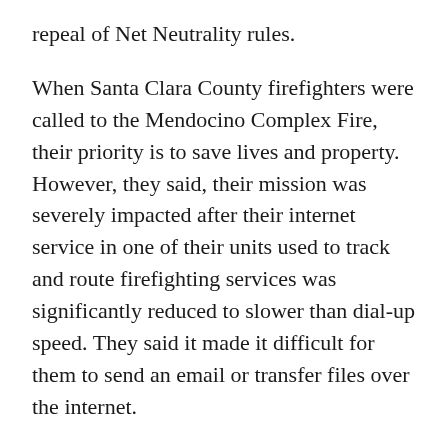repeal of Net Neutrality rules.
When Santa Clara County firefighters were called to the Mendocino Complex Fire, their priority is to save lives and property. However, they said, their mission was severely impacted after their internet service in one of their units used to track and route firefighting services was significantly reduced to slower than dial-up speed. They said it made it difficult for them to send an email or transfer files over the internet.
“If the speeds are impacted to the point at which those simple functions are impacted that's certainly frustrating for crews,” said Santa Clara County Fire Captain Bill Murphy.
The department said Verizon slowed their data to 1/200 of normal speed after they used too much